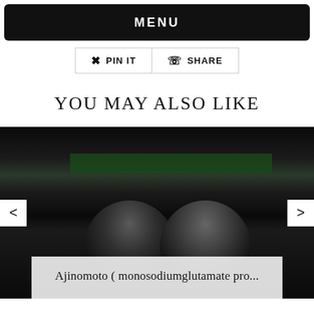MENU
PIN IT   SHARE
YOU MAY ALSO LIKE
[Figure (photo): Dark blurry photo of two people at what appears to be a panel or meeting table, with a dark background and green element. Navigation arrows on left and right. Caption overlay reading: Ajinomoto ( monosodiumglutamate pro...]
Ajinomoto ( monosodiumglutamate pro...